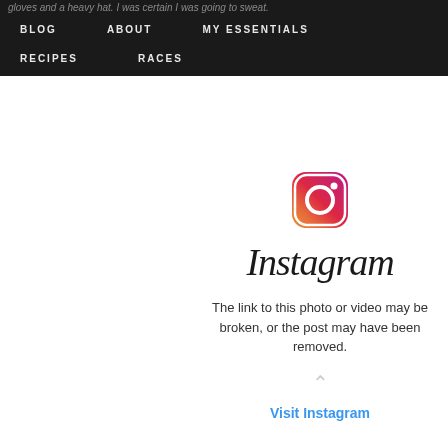gloves and a heavy hat. I was certain I was going to sweat.
BLOG   ABOUT   MY ESSENTIALS   RECIPES   RACES
[Figure (logo): Instagram logo icon (gradient camera icon) and Instagram wordmark in script font, with error message: 'The link to this photo or video may be broken, or the post may have been removed.' and a 'Visit Instagram' link.]